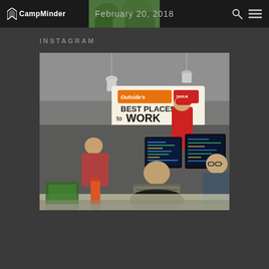CampMinder — February 20, 2018
INSTAGRAM
[Figure (photo): Office scene at CampMinder with employees working at computer desks. A sign in the background reads "Outside's Best Places to Work". An orange water bottle sits on a desk in the foreground.]